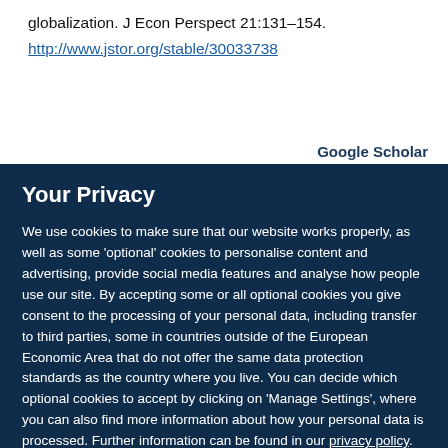globalization. J Econ Perspect 21:131–154.
http://www.jstor.org/stable/30033738
Google Scholar
Your Privacy
We use cookies to make sure that our website works properly, as well as some 'optional' cookies to personalise content and advertising, provide social media features and analyse how people use our site. By accepting some or all optional cookies you give consent to the processing of your personal data, including transfer to third parties, some in countries outside of the European Economic Area that do not offer the same data protection standards as the country where you live. You can decide which optional cookies to accept by clicking on 'Manage Settings', where you can also find more information about how your personal data is processed. Further information can be found in our privacy policy.
Accept all cookies
Manage preferences